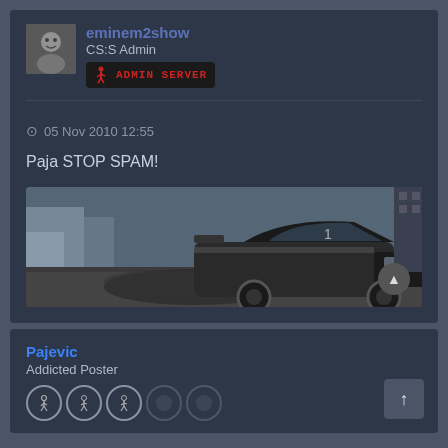eminem2show
CS:S Admin
[Figure (screenshot): ADMIN SERVER badge with CS figure icon in red on black background]
05 Nov 2010 12:55
Paja STOP SPAM!
[Figure (photo): A dark muscle car drifting on a road with smoke, appears to be from a video game]
Pajevic
Addicted Poster
[Figure (illustration): Five rank badge icons showing CS player silhouettes, last two faded]